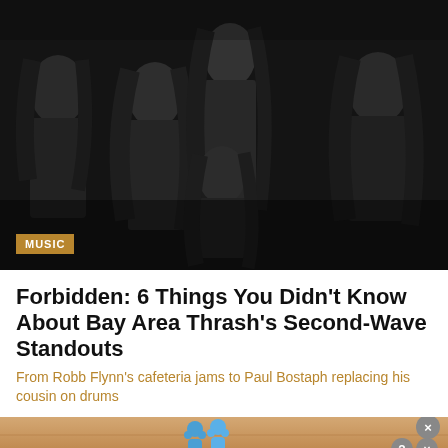[Figure (photo): Black and white photo of five long-haired heavy metal band members (Forbidden) posed together, wearing leather jackets]
MUSIC
Forbidden: 6 Things You Didn't Know About Bay Area Thrash's Second-Wave Standouts
From Robb Flynn's cafeteria jams to Paul Bostaph replacing his cousin on drums
[Figure (screenshot): Advertisement for 'Hold and Move' app/game showing blue figure icons on a wooden-toned background with close and question mark buttons]